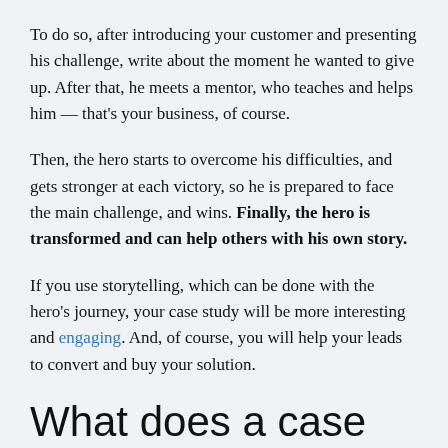To do so, after introducing your customer and presenting his challenge, write about the moment he wanted to give up. After that, he meets a mentor, who teaches and helps him — that's your business, of course.
Then, the hero starts to overcome his difficulties, and gets stronger at each victory, so he is prepared to face the main challenge, and wins. Finally, the hero is transformed and can help others with his own story.
If you use storytelling, which can be done with the hero's journey, your case study will be more interesting and engaging. And, of course, you will help your leads to convert and buy your solution.
What does a case study